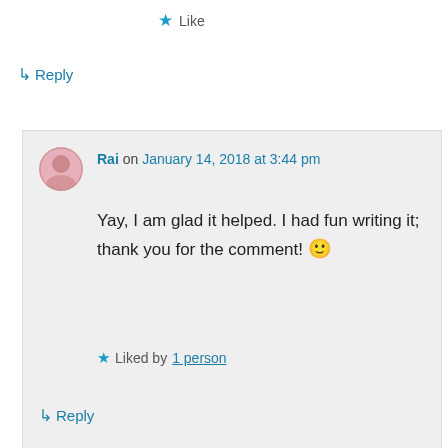★ Like
↳ Reply
Rai on January 14, 2018 at 3:44 pm
Yay, I am glad it helped. I had fun writing it; thank you for the comment! 🙂
Liked by 1 person
↳ Reply
lol lol on January 12, 2018 at 2:56 pm
Advertisements
[Figure (other): WordPress 'Built By' advertisement banner with dark navy background, text 'Your site. Built by us. Built for you.' and 'Built By' with WordPress logo]